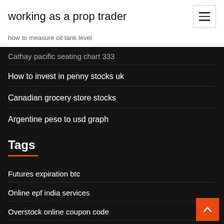working as a prop trader
how to measure oil tank level
Cathay pacific seating chart 333
How to invest in penny stocks uk
Canadian grocery store stocks
Argentine peso to usd graph
Tags
Futures expiration btc
Online epf india services
Overstock online coupon code
Trading metals futures